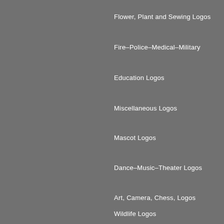Flower, Plant and Sewing Logos
Fire–Police–Medical–Military
Education Logos
Miscellaneous Logos
Mascot Logos
Dance–Music–Theater Logos
Art, Camera, Chess, Logos
Wildlife Logos